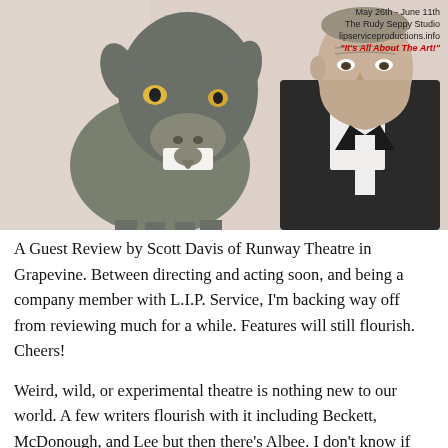[Figure (illustration): A painted illustration showing a goat in the foreground (left) and an older man in a dark suit and white shirt (right), posed similarly to the American Gothic painting style, against a light pinkish-grey background. In the upper right corner there is text overlay reading: May 26th - June 11th / The Rudy Seppy Studio / lipserviceproductions.info / 'It's All About The Art!']
A Guest Review by Scott Davis of Runway Theatre in Grapevine. Between directing and acting soon, and being a company member with L.I.P. Service, I'm backing way off from reviewing much for a while. Features will still flourish. Cheers!
Weird, wild, or experimental theatre is nothing new to our world. A few writers flourish with it including Beckett, McDonough, and Lee but then there's Albee. I don't know if you should call him truly experimental or not, but when you see an Albee play you know it's going to be different.